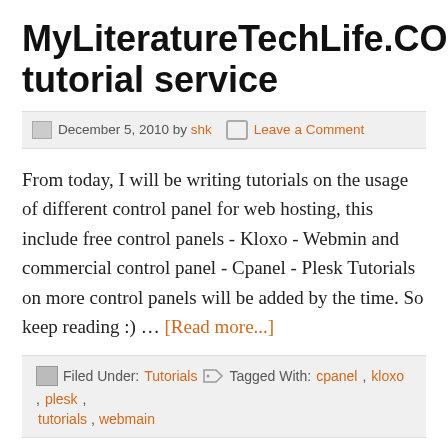MyLiteratureTechLife.COM’s tutorial service
December 5, 2010 by shk  Leave a Comment
From today, I will be writing tutorials on the usage of different control panel for web hosting, this include free control panels - Kloxo - Webmin and commercial control panel - Cpanel - Plesk Tutorials on more control panels will be added by the time. So keep reading :) … [Read more...]
Filed Under: Tutorials  Tagged With: cpanel, kloxo, plesk, tutorials, webmain
Plesk – Error: Unable to